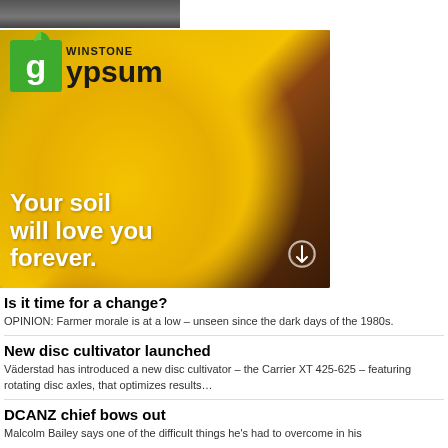[Figure (photo): Partial photo at top, showing dark agricultural/farming scene]
[Figure (illustration): Winstone Gypsum advertisement banner featuring corn kernels and soil background with green logo and tagline 'Your soil will love you forever.']
Is it time for a change?
OPINION: Farmer morale is at a low – unseen since the dark days of the 1980s.
New disc cultivator launched
Väderstad has introduced a new disc cultivator – the Carrier XT 425-625 – featuring rotating disc axles, that optimizes results…
DCANZ chief bows out
Malcolm Bailey says one of the difficult things he's had to overcome in his